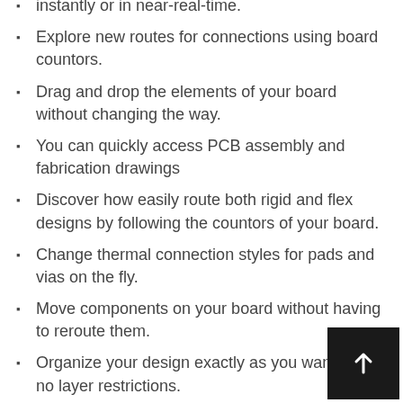instantly or in near-real-time.
Explore new routes for connections using board countors.
Drag and drop the elements of your board without changing the way.
You can quickly access PCB assembly and fabrication drawings
Discover how easily route both rigid and flex designs by following the countors of your board.
Change thermal connection styles for pads and vias on the fly.
Move components on your board without having to reroute them.
Organize your design exactly as you want with no layer restrictions.
Manage multiple impedance profiles for stripline, micro... and single or differential pairs.
Improved features in Draftsman make it even easier to create...